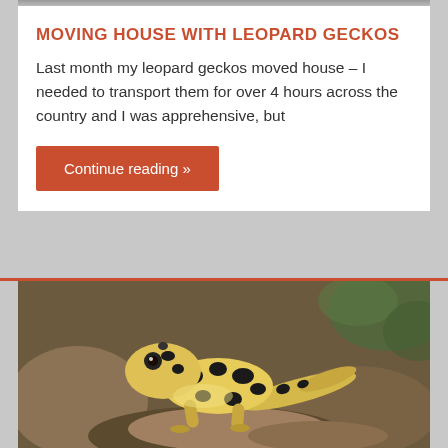[Figure (photo): Top portion of a photograph, partially cropped, showing leopard gecko or similar subject with grey/muted tones]
MOVING HOUSE WITH LEOPARD GECKOS
Last month my leopard geckos moved house – I needed to transport them for over 4 hours across the country and I was apprehensive, but
Continue reading »
[Figure (photo): Close-up photograph of a leopard gecko with yellow and black spotted pattern, climbing on rocks with blurred natural background]